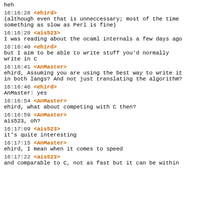heh
16:16:28 <ehird>
(although even that is unneccessary; most of the time something as slow as Perl is fine)
16:16:28 <ais523>
I was reading about the ocaml internals a few days ago
16:16:40 <ehird>
but I aim to be able to write stuff you'd normally write in C
16:16:41 <AnMaster>
ehird, Assuming you are using the best way to write it in both langs? And not just translating the algorithm?
16:16:46 <ehird>
AnMaster: yes
16:16:54 <AnMaster>
ehird, what about competing with C then?
16:16:59 <AnMaster>
ais523, oh?
16:17:09 <ais523>
it's quite interesting
16:17:15 <AnMaster>
ehird, I mean when it comes to speed
16:17:22 <ais523>
and comparable to C, not as fast but it can be within